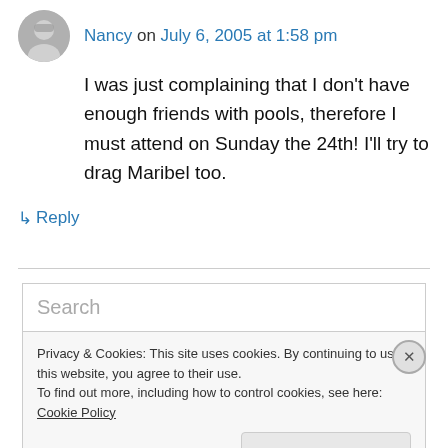Nancy on July 6, 2005 at 1:58 pm
I was just complaining that I don't have enough friends with pools, therefore I must attend on Sunday the 24th! I'll try to drag Maribel too.
↳ Reply
Search
Privacy & Cookies: This site uses cookies. By continuing to use this website, you agree to their use.
To find out more, including how to control cookies, see here: Cookie Policy
Close and accept